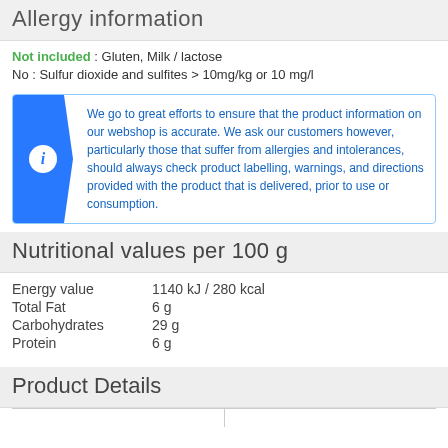Allergy Information
Not included : Gluten, Milk / lactose
No : Sulfur dioxide and sulfites > 10mg/kg or 10 mg/l
We go to great efforts to ensure that the product information on our webshop is accurate. We ask our customers however, particularly those that suffer from allergies and intolerances, should always check product labelling, warnings, and directions provided with the product that is delivered, prior to use or consumption.
Nutritional values per 100 g
Energy value   1140 kJ / 280 kcal
Total Fat   6 g
Carbohydrates   29 g
Protein   6 g
Product Details